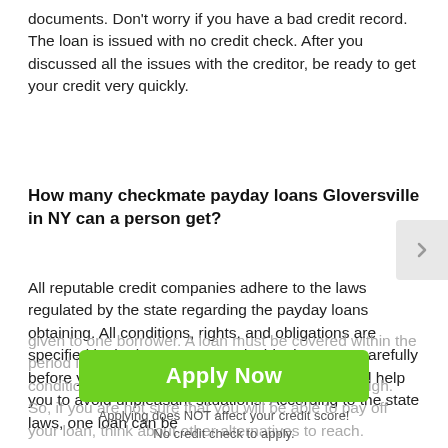documents. Don't worry if you have a bad credit record. The loan is issued with no credit check. After you discussed all the issues with the creditor, be ready to get your credit very quickly.
How many checkmate payday loans Gloversville in NY can a person get?
All reputable credit companies adhere to the laws regulated by the state regarding the payday loans obtaining. All conditions, rights, and obligations are specified in the loan treaty. Study this document carefully before you enter into the loan agreement. This will help you to avoid unpleasant situations. According to the state laws, one loan can be given to one borrower. A loan must be covered within the period indicated in the loan treaty. Violation of this condition leads to the penalties. They are rather high. So, if you are not sure that you will be able to pay off your loan, think about other alternatives to reach.
[Figure (other): Green 'Apply Now' button overlay with text 'Applying does NOT affect your credit score!' and 'No credit check to apply.' below it]